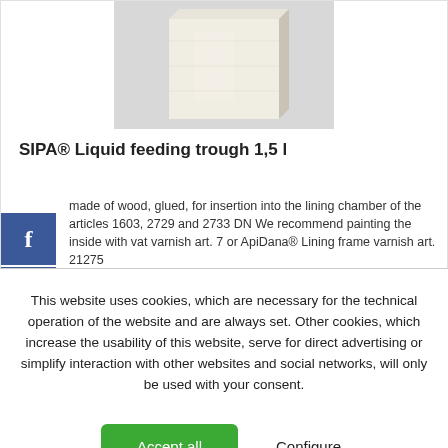[Figure (photo): Photo of a white/cream wooden rectangular block (SIPA liquid feeding trough) against a light grey background]
SIPA® Liquid feeding trough 1,5 l
made of wood, glued, for insertion into the lining chamber of the articles 1603, 2729 and 2733 DN We recommend painting the inside with vat varnish art. 7 or ApiDana® Lining frame varnish art. 21275
This website uses cookies, which are necessary for the technical operation of the website and are always set. Other cookies, which increase the usability of this website, serve for direct advertising or simplify interaction with other websites and social networks, will only be used with your consent.
Accept all  Configure